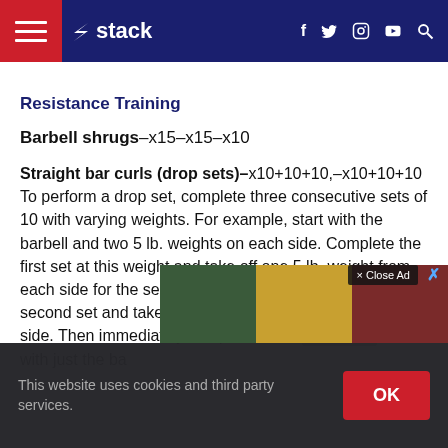stack (navigation bar with hamburger menu, logo, social icons, search)
Resistance Training
Barbell shrugs—x15—x15—x10
Straight bar curls (drop sets)—x10+10+10,—x10+10+10 To perform a drop set, complete three consecutive sets of 10 with varying weights. For example, start with the barbell and two 5 lb. weights on each side. Complete the first set at this weight and take off one 5 lb. weight from each side for the second set. Immediately complete the second set and take off the final 5 lb. weight from each side. Then immediately complete the final set with just the ba...
This website uses cookies and third party services.